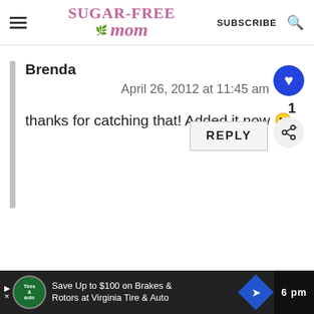Sugar-Free Mom — SUBSCRIBE [search icon]
Brenda
April 26, 2012 at 11:45 am
thanks for catching that! Added it now 🙂
REPLY
Save Up to $100 on Brakes & Rotors at Virginia Tire & Auto